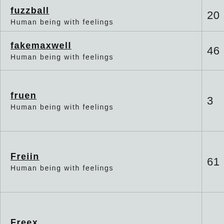| Username / Description | Number |
| --- | --- |
| fuzzball
Human being with feelings | 20 |
| fakemaxwell
Human being with feelings | 46 |
| fruen
Human being with feelings | 3 |
| Freiin
Human being with feelings | 61 |
| Freex
Human being with feelings | 79 |